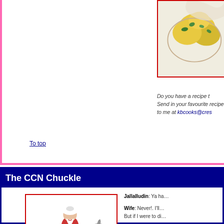[Figure (photo): Photo of food dish with yellow/green items, partially cropped]
Do you have a recipe t…
Send in your favourite recipe to me at kbcooks@cres…
To top
The CCN Chuckle
[Figure (illustration): Cartoon illustration of Mullah/man in white turban riding a grey donkey]
Jallalludin: Ya ha…

Wife: Never!. I'll… But if I were to di…

Jallalludin: No, b…